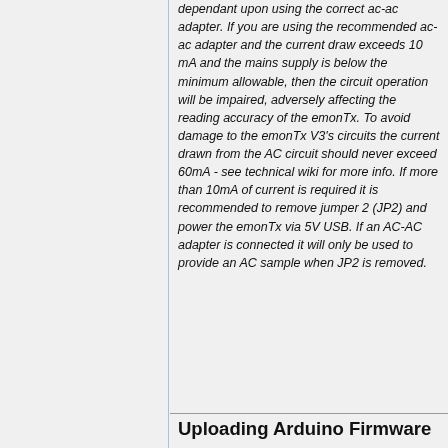dependant upon using the correct ac-ac adapter. If you are using the recommended ac-ac adapter and the current draw exceeds 10 mA and the mains supply is below the minimum allowable, then the circuit operation will be impaired, adversely affecting the reading accuracy of the emonTx. To avoid damage to the emonTx V3's circuits the current drawn from the AC circuit should never exceed 60mA - see technical wiki for more info. If more than 10mA of current is required it is recommended to remove jumper 2 (JP2) and power the emonTx via 5V USB. If an AC-AC adapter is connected it will only be used to provide an AC sample when JP2 is removed.
Uploading Arduino Firmware